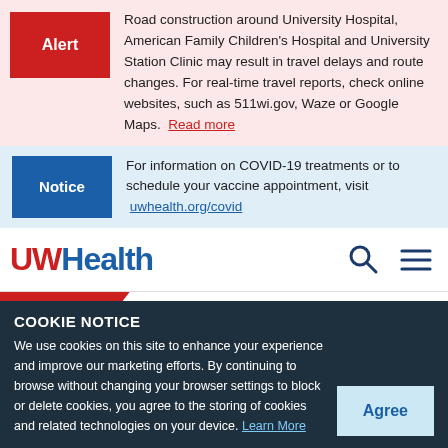Alert — Road construction around University Hospital, American Family Children's Hospital and University Station Clinic may result in travel delays and route changes. For real-time travel reports, check online websites, such as 511wi.gov, Waze or Google Maps. Read more
Notice — For information on COVID-19 treatments or to schedule your vaccine appointment, visit uwhealth.org/covid
[Figure (logo): UWHealth logo with red UW and blue Health text]
[Figure (screenshot): Dark blue background section with faint italic text: Ranked in 4 adult specialties, #1 hospital in Wisconsin]
COOKIE NOTICE
We use cookies on this site to enhance your experience and improve our marketing efforts. By continuing to browse without changing your browser settings to block or delete cookies, you agree to the storing of cookies and related technologies on your device. Learn More